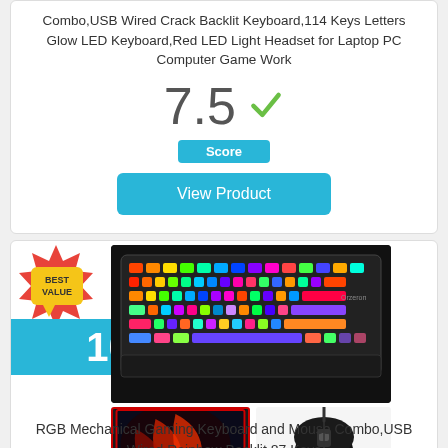Combo,USB Wired Crack Backlit Keyboard,114 Keys Letters Glow LED Keyboard,Red LED Light Headset for Laptop PC Computer Game Work
7.5
Score
View Product
[Figure (photo): Best Value badge - red starburst with yellow speech bubble labeled BEST VALUE]
10
[Figure (photo): RGB mechanical gaming keyboard with rainbow backlit keys and wrist rest]
[Figure (photo): Gaming mouse pad with red design and Bluefinger branding, and black gaming mouse]
RGB Mechanical Gaming Keyboard and Mouse Combo,USB Wired Rainbow Backlit 87 Keys